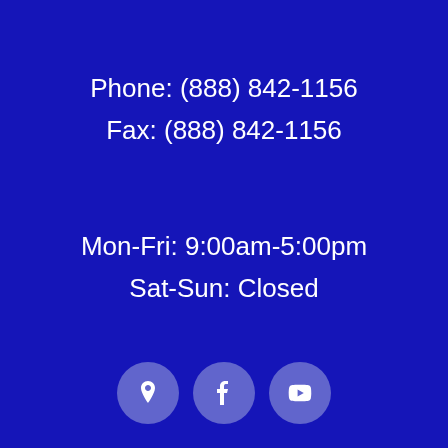Phone: (888) 842-1156
Fax: (888) 842-1156
Mon-Fri: 9:00am-5:00pm
Sat-Sun: Closed
[Figure (infographic): Three circular social media icon buttons: location/map pin icon, Facebook icon, YouTube icon]